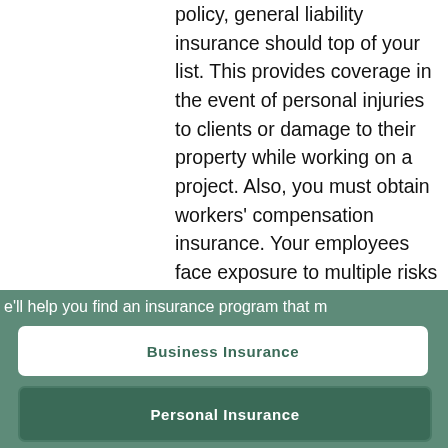policy, general liability insurance should top of your list. This provides coverage in the event of personal injuries to clients or damage to their property while working on a project. Also, you must obtain workers' compensation insurance. Your employees face exposure to multiple risks because of the materials and tools they use, as well as the physical work involved
[Figure (illustration): Accessibility icon: a blue circle with a white person with arms outstretched (universal accessibility symbol)]
e'll help you find an insurance program that m
Business Insurance
Personal Insurance